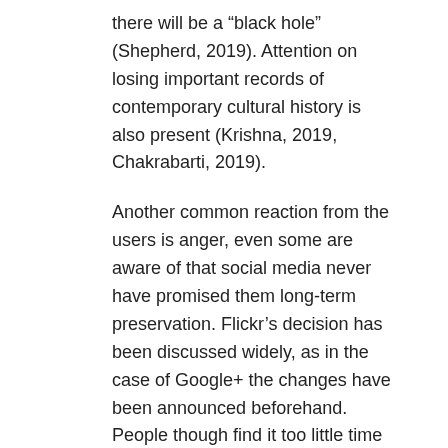there will be a “black hole” (Shepherd, 2019). Attention on losing important records of contemporary cultural history is also present (Krishna, 2019, Chakrabarti, 2019).
Another common reaction from the users is anger, even some are aware of that social media never have promised them long-term preservation. Flickr’s decision has been discussed widely, as in the case of Google+ the changes have been announced beforehand. People though find it too little time to act and experience difficulties, when downloading data. Others also regard the situation as an opportunity to select among the thousands of photos, they have uploaded during the years. When it comes to Myspace quiet a lot of people feel cheated, as there has been no information and Myspace claims that it was a mistake made during migration. Furthermore, thoughts about the “real” reason behind the mass delete flourish.